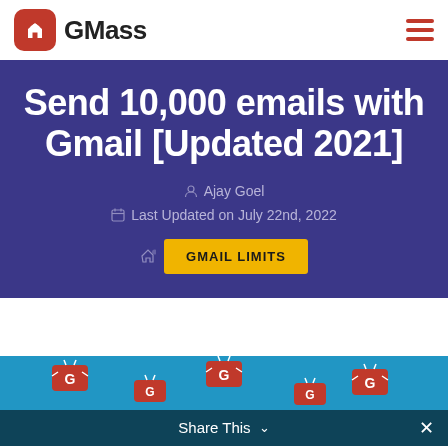GMass
Send 10,000 emails with Gmail [Updated 2021]
Ajay Goel
Last Updated on July 22nd, 2022
GMAIL LIMITS
[Figure (screenshot): Bottom strip showing email icons on blue background with Share This bar overlay]